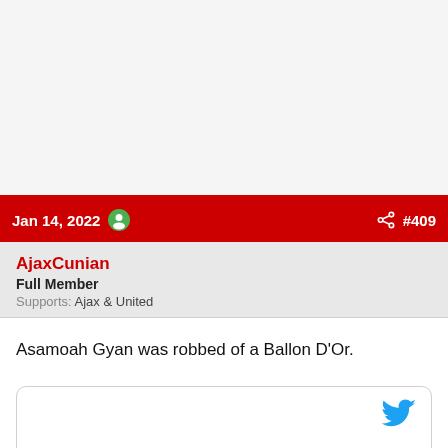Jan 14, 2022  #409
AjaxCunian
Full Member
Supports: Ajax & United
Asamoah Gyan was robbed of a Ballon D'Or.
[Figure (screenshot): Embedded Twitter/tweet card with Twitter bird logo icon in top-right corner]